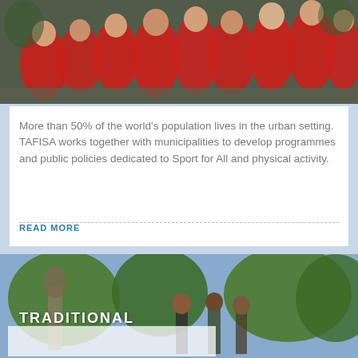[Figure (photo): Children and youth running in red t-shirts, a group fun run or charity race event outdoors.]
More than 50% of the world's population lives in the urban setting. TAFISA works together with municipalities to develop programmes and public policies dedicated to Sport for All and physical activity.
READ MORE
[Figure (photo): Outdoor event with people near trees; a banner reading TRADITIONAL is partially visible.]